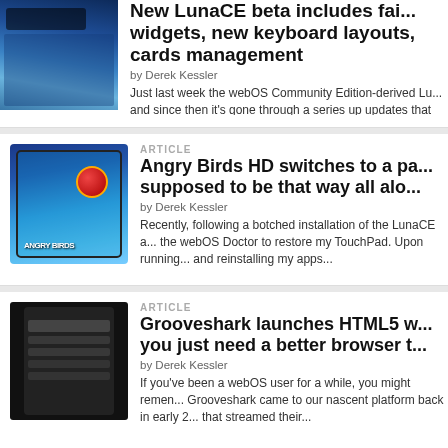[Figure (screenshot): Thumbnail screenshot of webOS/LunaCE interface with blue gradient background and dark UI]
New LunaCE beta includes fai... widgets, new keyboard layouts, cards management
by Derek Kessler
Just last week the webOS Community Edition-derived Lu... and since then it's gone through a series up updates that b... alpha phase was all about...
[Figure (screenshot): Thumbnail of tablet showing Angry Birds HD game with red bird on blue background]
ARTICLE
Angry Birds HD switches to a pa... supposed to be that way all alo...
by Derek Kessler
Recently, following a botched installation of the LunaCE a... the webOS Doctor to restore my TouchPad. Upon running... and reinstalling my apps...
[Figure (screenshot): Thumbnail of black smartphone showing app/music interface]
ARTICLE
Grooveshark launches HTML5 w... you just need a better browser t...
by Derek Kessler
If you've been a webOS user for a while, you might remen... Grooveshark came to our nascent platform back in early 2... that streamed their...